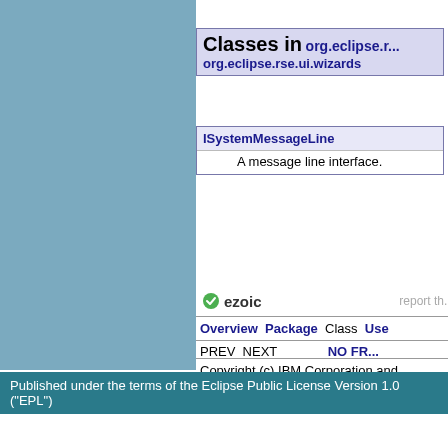Classes in org.eclipse.r... org.eclipse.rse.ui.wizards
| Interface | Description |
| --- | --- |
| ISystemMessageLine | A message line interface. |
Overview  Package  Class  Use
PREV  NEXT  NO FR...
Copyright (c) IBM Corporation and...
[Figure (logo): Ezoic logo with green circle icon]
report th...
Published under the terms of the Eclipse Public License Version 1.0 ("EPL")